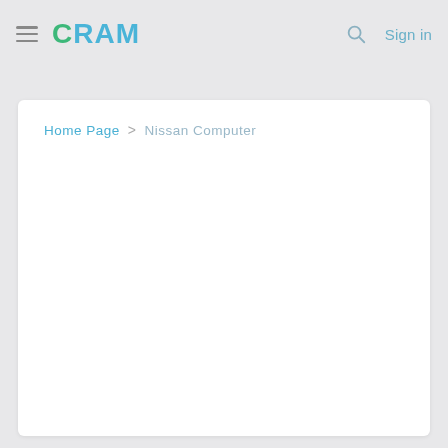CRAM  Sign in
Home Page > Nissan Computer